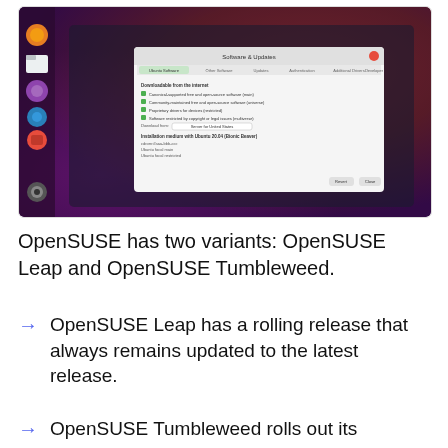[Figure (screenshot): Screenshot of Ubuntu Software Updater dialog open on an Ubuntu desktop with red/purple gradient wallpaper and left sidebar with app icons.]
OpenSUSE has two variants: OpenSUSE Leap and OpenSUSE Tumbleweed.
OpenSUSE Leap has a rolling release that always remains updated to the latest release.
OpenSUSE Tumbleweed rolls out its